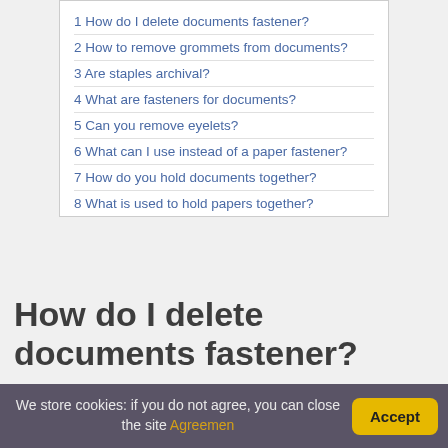1 How do I delete documents fastener?
2 How to remove grommets from documents?
3 Are staples archival?
4 What are fasteners for documents?
5 Can you remove eyelets?
6 What can I use instead of a paper fastener?
7 How do you hold documents together?
8 What is used to hold papers together?
How do I delete documents fastener?
Carefully insert a microspatula under one shank of the fastener and gently lift it. Similarly, lift the other
We store cookies: if you do not agree, you can close the site Agreemen Accept